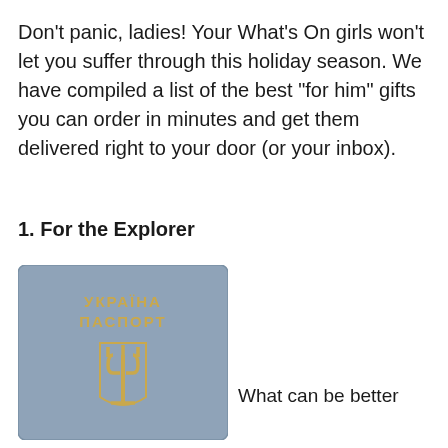Don't panic, ladies! Your What's On girls won't let you suffer through this holiday season. We have compiled a list of the best “for him” gifts you can order in minutes and get them delivered right to your door (or your inbox).
1. For the Explorer
[Figure (photo): A Ukrainian passport (УКРАЇНА ПАСПОРТ) with blue/grey cover and gold trident coat of arms emblem.]
What can be better